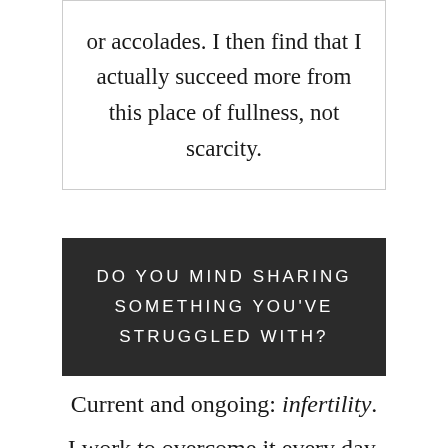or accolades. I then find that I actually succeed more from this place of fullness, not scarcity.
DO YOU MIND SHARING SOMETHING YOU'VE STRUGGLED WITH?
Current and ongoing: infertility.
I work to overcome it every day. I have